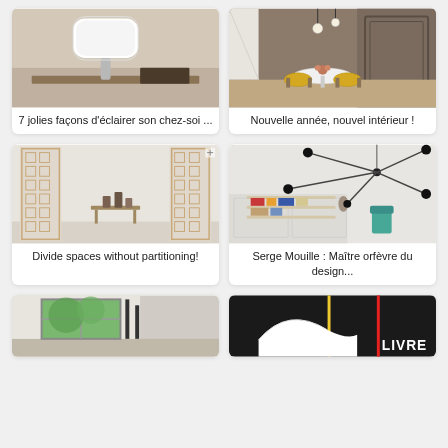[Figure (photo): White modern table lamp with rounded rectangular shade on a wooden surface]
7 jolies façons d'éclairer son chez-soi ...
[Figure (photo): Dining area with round white table, yellow chairs and pendant lights in a modern interior]
Nouvelle année, nouvel intérieur !
[Figure (photo): Room divider with geometric wooden lattice panels and small table with objects]
Divide spaces without partitioning!
[Figure (photo): Serge Mouille style multi-arm black lamp in a mid-century modern room with shelving]
Serge Mouille : Maître orfèvre du design...
[Figure (photo): Modern interior with large window showing green trees outside]
[Figure (photo): Abstract colorful design with red and yellow lines and a white sculptural shape, with LIVRE text]